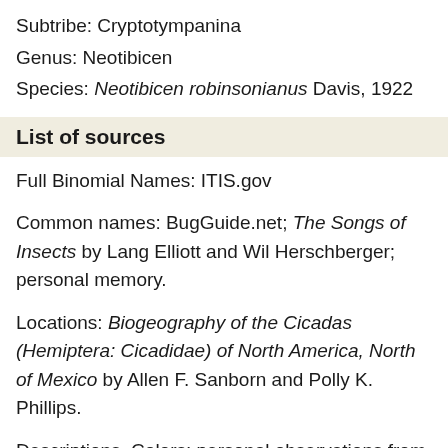Subtribe: Cryptotympanina
Genus: Neotibicen
Species: Neotibicen robinsonianus Davis, 1922
List of sources
Full Binomial Names: ITIS.gov
Common names: BugGuide.net; The Songs of Insects by Lang Elliott and Wil Herschberger; personal memory.
Locations: Biogeography of the Cicadas (Hemiptera: Cicadidae) of North America, North of Mexico by Allen F. Sanborn and Polly K. Phillips.
Descriptions, Colors: personal observations from specimens or photos from many sources.